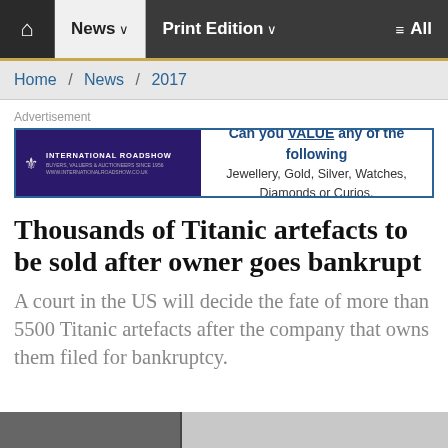🏠 News ∨  Print Edition ∨  ≡ All
Home / News / 2017
Advertisement
[Figure (other): International Roadshow advertisement banner: Can you VALUE any of the following — Jewellery, Gold, Silver, Watches, Diamonds or Curios.]
Thousands of Titanic artefacts to be sold after owner goes bankrupt
A court in the US will decide the fate of more than 5500 Titanic artefacts after the company that owns them filed for bankruptcy.
[Figure (photo): Partial bottom image strip showing a photo related to the Titanic article.]